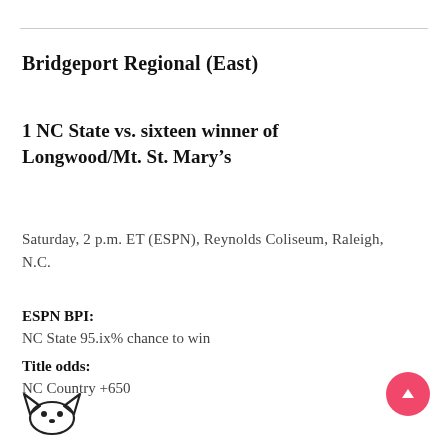Bridgeport Regional (East)
1 NC State vs. sixteen winner of Longwood/Mt. St. Mary’s
Saturday, 2 p.m. ET (ESPN), Reynolds Coliseum, Raleigh, N.C.
ESPN BPI:
NC State 95.ix% chance to win
Title odds:
NC Country +650
[Figure (illustration): Partial mascot icon (cat/wolf head) at bottom left, and a pink circular FAB button with upward arrow at bottom right]